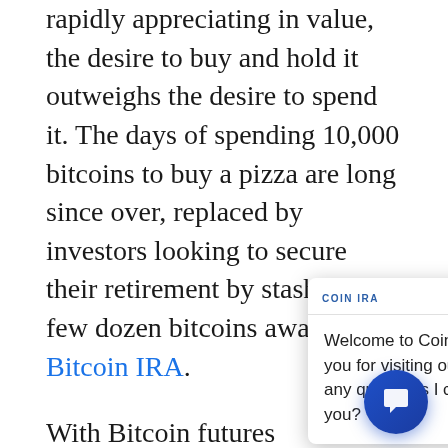rapidly appreciating in value, the desire to buy and hold it outweighs the desire to spend it. The days of spending 10,000 bitcoins to buy a pizza are long since over, replaced by investors looking to secure their retirement by stashing a few dozen bitcoins away in a Bitcoin IRA.
With Bitcoin futures established, Bitcoin soon, and Bitcoin exchange-traded funds (ETFs) in the works, proved to markets that value in high demand from investors around the world. For the BIS to say otherwise shows just how out of touch central bankers in their ivory towers are from the everyday people
[Figure (screenshot): Coin IRA chat popup overlay with header 'COIN IRA', close button X, and message: 'Welcome to Coin IRA, and thank you for visiting our site. Are there any questions I can answer for you?']
[Figure (other): Blue circular chat bubble button in bottom-right corner with speech bubble icon]